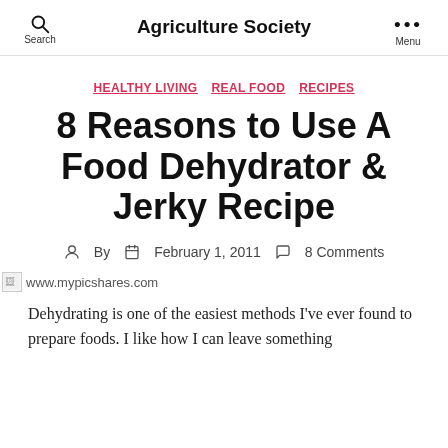Search  Agriculture Society  Menu
HEALTHY LIVING  REAL FOOD  RECIPES
8 Reasons to Use A Food Dehydrator & Jerky Recipe
By  February 1, 2011  8 Comments
[Figure (photo): Broken image placeholder with www.mypicshares.com watermark]
Dehydrating is one of the easiest methods I've ever found to prepare foods. I like how I can leave something